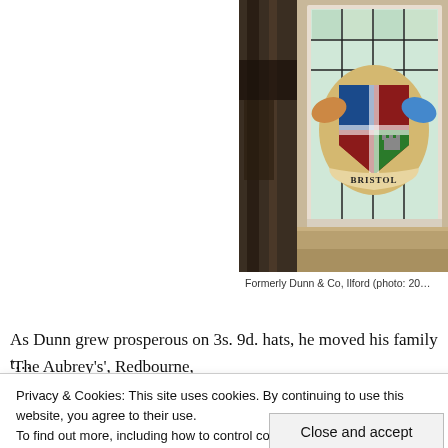[Figure (photo): Stained glass window showing the Bristol coat of arms with a banner reading 'BRISTOL', set within a white-painted wooden frame. A dark wooden structural element is visible to the left. Photo of formerly Dunn & Co, Ilford.]
Formerly Dunn & Co, Ilford (photo: 20...
As Dunn grew prosperous on 3s. 9d. hats, he moved his family t...
'The Aubrey's', Redbourne, Hertfordshire. The Dunns were stri...
Privacy & Cookies: This site uses cookies. By continuing to use this website, you agree to their use.
To find out more, including how to control cookies, see here: Cookie Policy
Close and accept